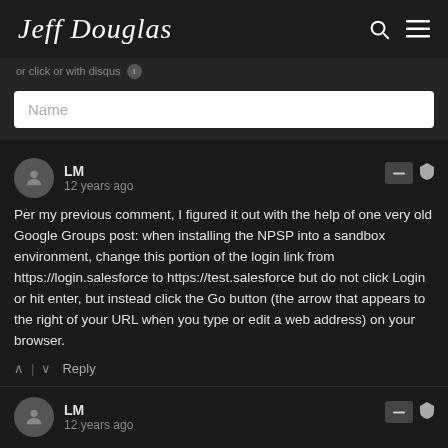Jeff Douglas
or click or with disqus
Name
LM
12 years ago
Per my previous comment, I figured it out with the help of one very old Google Groups post: when installing the NPSP into a sandbox environment, change this portion of the login link from https://login.salesforce to https://test.salesforce but do not click Login or hit enter, but instead click the Go button (the arrow that appears to the right of your URL when you type or edit a web address) on your browser.
Reply
LM
12 years ago